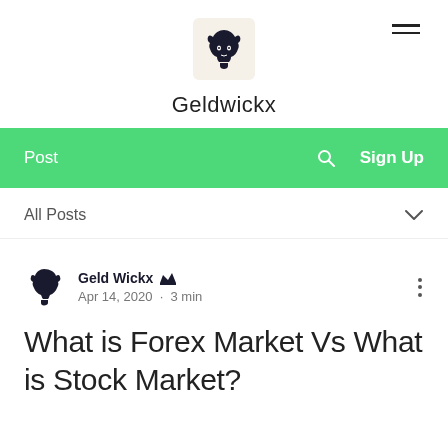Geldwickx
[Figure (logo): Geldwickx wolf head logo on beige/cream background square]
Post  🔍  Sign Up
All Posts
Geld Wickx 👑
Apr 14, 2020 · 3 min
What is Forex Market Vs What is Stock Market?